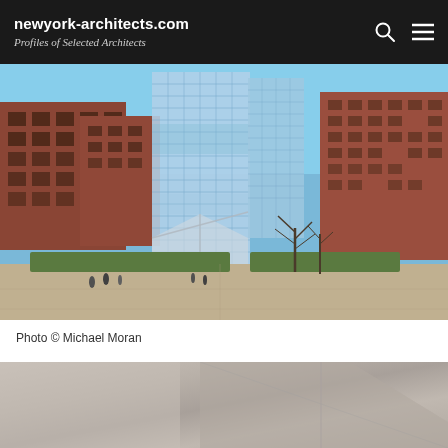newyork-architects.com — Profiles of Selected Architects
[Figure (photo): Exterior view of a modern glass tower building surrounded by red brick buildings, with a courtyard plaza in the foreground. People walking in the plaza area. Likely a university or institutional campus.]
Photo © Michael Moran
[Figure (photo): Partial view of a second architectural photograph, showing interior or detail in muted grey and taupe tones, cropped at bottom of page.]